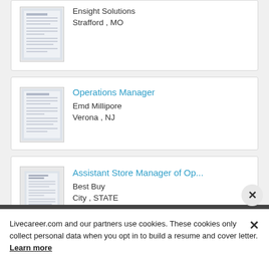[Figure (screenshot): Partial job listing card for Ensight Solutions, Strafford MO]
Strafford , MO
[Figure (screenshot): Resume thumbnail for Operations Manager listing]
Operations Manager
Emd Millipore
Verona , NJ
[Figure (screenshot): Resume thumbnail for Assistant Store Manager of Operations listing]
Assistant Store Manager of Op...
Best Buy
City , STATE
Livecareer.com and our partners use cookies. These cookies only collect personal data when you opt in to build a resume and cover letter. Learn more